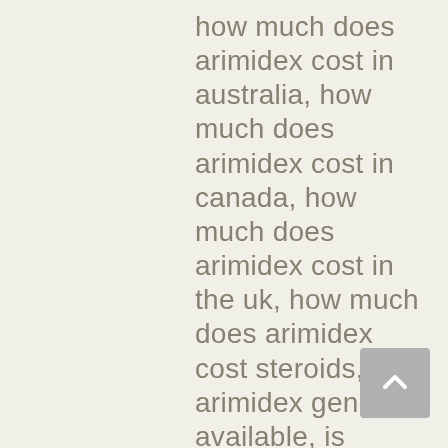how much does arimidex cost in australia, how much does arimidex cost in canada, how much does arimidex cost in the uk, how much does arimidex cost steroids, is arimidex generic available, is generic arimidex effective, liquid arimidex online, low cost arimidex, online arimidex, online pharmacy for arimidex, order arimidex, order arimidex australia, order arimidex canada, order arimidex online australia, price for